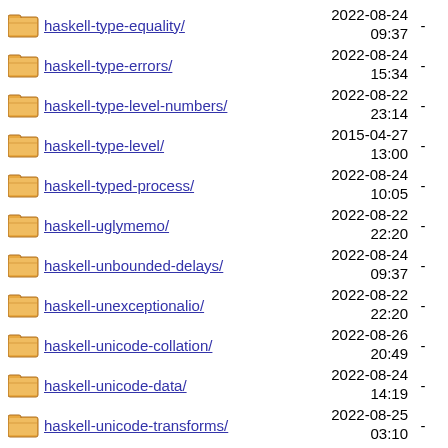haskell-type-equality/ 2022-08-24 09:37 -
haskell-type-errors/ 2022-08-24 15:34 -
haskell-type-level-numbers/ 2022-08-22 23:14 -
haskell-type-level/ 2015-04-27 13:00 -
haskell-typed-process/ 2022-08-24 10:05 -
haskell-uglymemo/ 2022-08-22 22:20 -
haskell-unbounded-delays/ 2022-08-24 09:37 -
haskell-unexceptionalio/ 2022-08-22 22:20 -
haskell-unicode-collation/ 2022-08-26 20:49 -
haskell-unicode-data/ 2022-08-24 14:19 -
haskell-unicode-transforms/ 2022-08-25 03:10 -